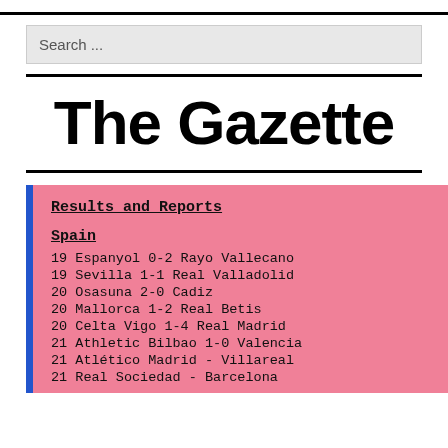Search ...
The Gazette
Results and Reports
Spain
19 Espanyol 0-2 Rayo Vallecano
19 Sevilla 1-1 Real Valladolid
20 Osasuna 2-0 Cadiz
20 Mallorca 1-2 Real Betis
20 Celta Vigo 1-4 Real Madrid
21 Athletic Bilbao 1-0 Valencia
21 Atlético Madrid - Villareal
21 Real Sociedad - Barcelona